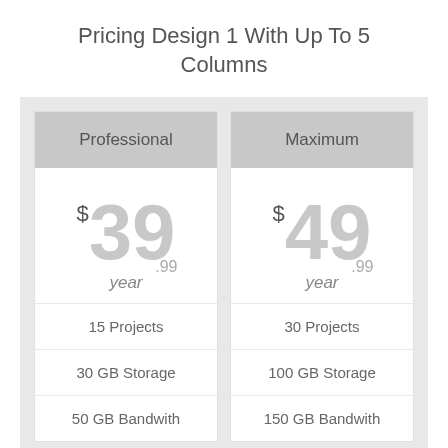Pricing Design 1 With Up To 5 Columns
| Professional | Maximum |
| --- | --- |
| $39.99 / year | $49.99 / year |
| 15 Projects | 30 Projects |
| 30 GB Storage | 100 GB Storage |
| 50 GB Bandwith | 150 GB Bandwith |